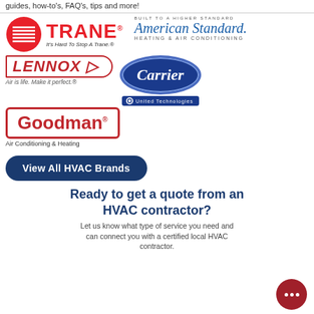guides, how-to's, FAQ's, tips and more!
[Figure (logo): Trane logo with red circle graphic and wordmark, tagline: It's Hard To Stop A Trane.]
[Figure (logo): American Standard Heating & Air Conditioning logo with script wordmark and tagline: Built To A Higher Standard]
[Figure (logo): Lennox logo with italic red wordmark in oval border, tagline: Air is life. Make it perfect.]
[Figure (logo): Carrier logo in blue oval with United Technologies badge]
[Figure (logo): Goodman Air Conditioning & Heating logo with red bordered box]
View All HVAC Brands
Ready to get a quote from an HVAC contractor?
Let us know what type of service you need and can connect you with a certified local HVAC contractor.